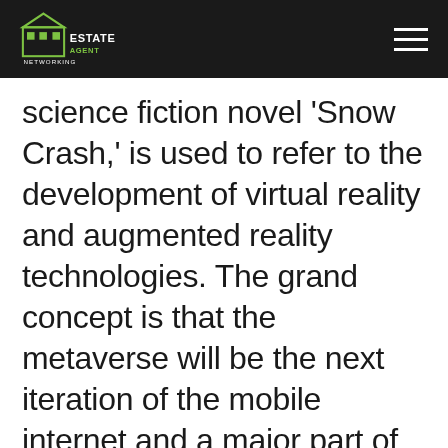Estate Agent Networking
science fiction novel 'Snow Crash,' is used to refer to the development of virtual reality and augmented reality technologies. The grand concept is that the metaverse will be the next iteration of the mobile internet and a major part of both digital and real life.